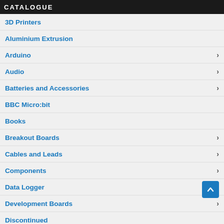CATALOGUE
3D Printers
Aluminium Extrusion
Arduino
Audio
Batteries and Accessories
BBC Micro:bit
Books
Breakout Boards
Cables and Leads
Components
Data Logger
Development Boards
Discontinued
Electronic Kits
Geek Chic